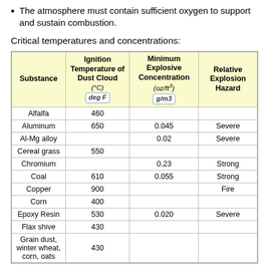The atmosphere must contain sufficient oxygen to support and sustain combustion.
Critical temperatures and concentrations:
| Substance | Ignition Temperature of Dust Cloud (°C) (deg F) | Minimum Explosive Concentration (oz/ft³) (g/m3) | Relative Explosion Hazard |
| --- | --- | --- | --- |
| Alfalfa | 460 |  |  |
| Aluminum | 650 | 0.045 | Severe |
| Al-Mg alloy |  | 0.02 | Severe |
| Cereal grass | 550 |  |  |
| Chromium |  | 0.23 | Strong |
| Coal | 610 | 0.055 | Strong |
| Copper | 900 |  | Fire |
| Corn | 400 |  |  |
| Epoxy Resin | 530 | 0.020 | Severe |
| Flax shive | 430 |  |  |
| Grain dust, winter wheat, corn, oats | 430 |  |  |